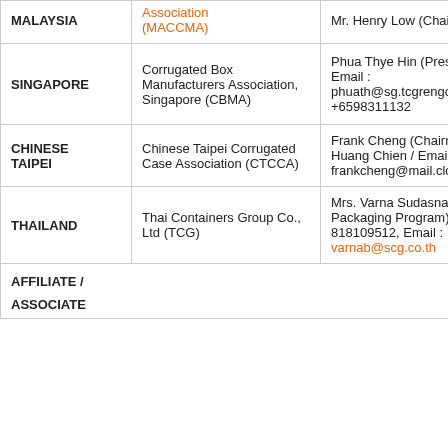| Country | Organization | Contact |
| --- | --- | --- |
| MALAYSIA | Association (MACCMA) | Mr. Henry Low (Chairman) |
| SINGAPORE | Corrugated Box Manufacturers Association, Singapore (CBMA) | Phua Thye Hin (President)
Email : phuath@sg.tcgrengo.com
+6598311132 |
| CHINESE TAIPEI | Chinese Taipei Corrugated Case Association (CTCCA) | Frank Cheng (Chairman)
Huang Chien / Email: frankcheng@mail.clc.com |
| THAILAND | Thai Containers Group Co., Ltd (TCG) | Mrs. Varna Sudasna (Ma – Packaging Program) ,T (+66) 818109512, Email : varnab@scg.co.th |
| AFFILIATE /

ASSOCIATE |  |  |